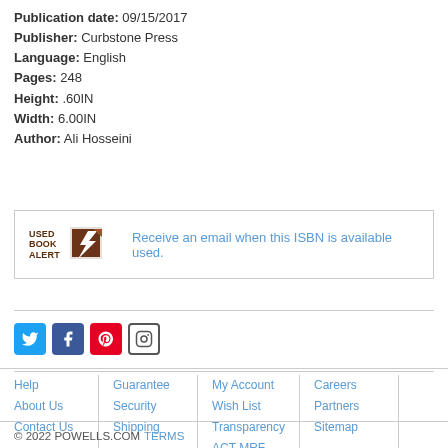Publication date: 09/15/2017
Publisher: Curbstone Press
Language: English
Pages: 248
Height: .60IN
Width: 6.00IN
Author: Ali Hosseini
[Figure (infographic): Used Book Alert logo with brown book icon and text: USED BOOK ALERT. Message: Receive an email when this ISBN is available used.]
[Figure (infographic): Social media icons: Twitter (blue bird), Facebook (blue f), Pinterest (red P), Instagram (camera outline)]
Help | About Us | Contact Us | Guarantee | Security | Shipping | My Account | Wish List | Transparency | ACT MRF | Careers | Partners | Sitemap
© 2022 POWELLS.COM TERMS